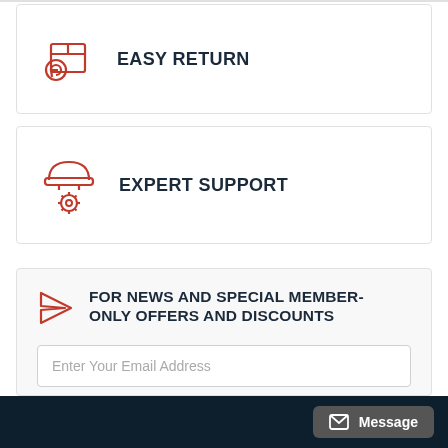EASY RETURN
EXPERT SUPPORT
FOR NEWS AND SPECIAL MEMBER-ONLY OFFERS AND DISCOUNTS
Enter Your Email Address
SUBSCRIBE
I have read and agree to  Terms & Conditions  &  Privacy Policy.
Message